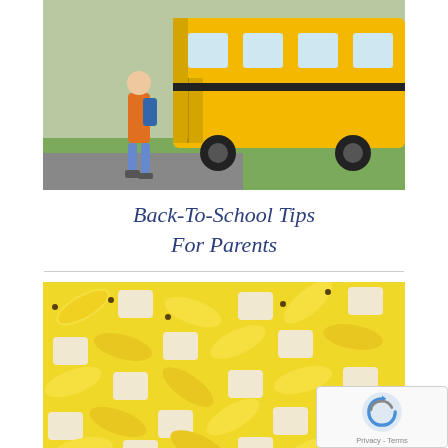[Figure (photo): Child in orange shirt walking toward a yellow school bus]
Back-To-School Tips For Parents
[Figure (illustration): Repeating pattern of bananas and sandwiches on yellow background]
The First Superfood (Via Slate.com)
[Figure (photo): Partial view of a third article image at the bottom of the page]